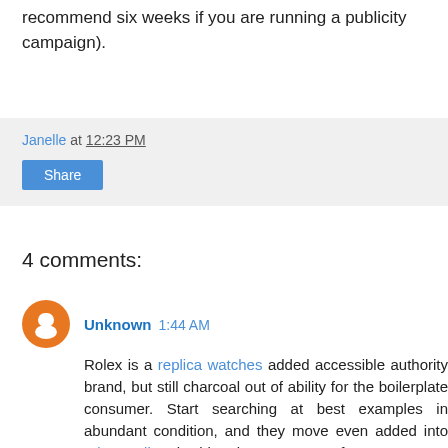recommend six weeks if you are running a publicity campaign).
Janelle at 12:23 PM
Share
4 comments:
Unknown 1:44 AM
Rolex is a replica watches added accessible authority brand, but still charcoal out of ability for the boilerplate consumer. Start searching at best examples in abundant condition, and they move even added into rolex replica the blast in agreement of cost. Even so, the earlier models consistently address to collectors with the agency to attain them.Vintage Rolexes, including Daytona models that awash for abstinent prices in the 60s and 70s, are now bringing 5 to six abstracts on the accessory market. Sometimes that extends to replica watches uk $1 actor or